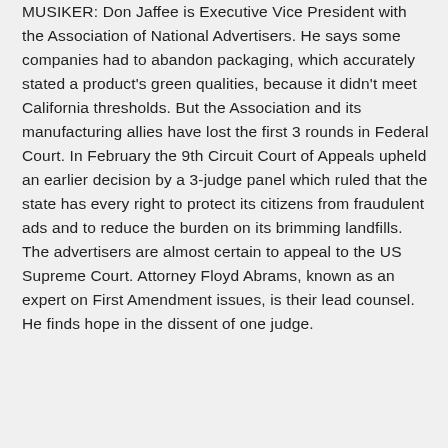MUSIKER: Don Jaffee is Executive Vice President with the Association of National Advertisers. He says some companies had to abandon packaging, which accurately stated a product's green qualities, because it didn't meet California thresholds. But the Association and its manufacturing allies have lost the first 3 rounds in Federal Court. In February the 9th Circuit Court of Appeals upheld an earlier decision by a 3-judge panel which ruled that the state has every right to protect its citizens from fraudulent ads and to reduce the burden on its brimming landfills. The advertisers are almost certain to appeal to the US Supreme Court. Attorney Floyd Abrams, known as an expert on First Amendment issues, is their lead counsel. He finds hope in the dissent of one judge.